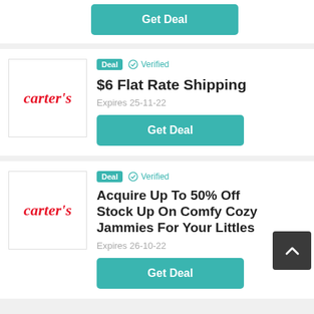[Figure (screenshot): Partial top card showing a teal Get Deal button]
[Figure (logo): Carter's logo in red italic text]
Deal  ✓ Verified
$6 Flat Rate Shipping
Expires 25-11-22
Get Deal
[Figure (logo): Carter's logo in red italic text]
Deal  ✓ Verified
Acquire Up To 50% Off Stock Up On Comfy Cozy Jammies For Your Littles
Expires 26-10-22
Get Deal